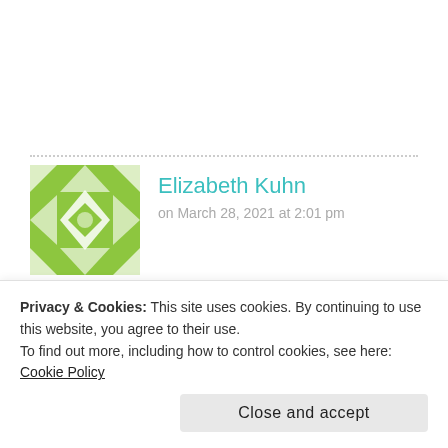[Figure (illustration): Green geometric quilt-pattern avatar for user Elizabeth Kuhn]
Elizabeth Kuhn
on March 28, 2021 at 2:01 pm
Lovely peaches and pinks in this gorgeous creation! Love how you used the watercolor ink and brushes :-)
Reply
Privacy & Cookies: This site uses cookies. By continuing to use this website, you agree to their use.
To find out more, including how to control cookies, see here: Cookie Policy
Close and accept